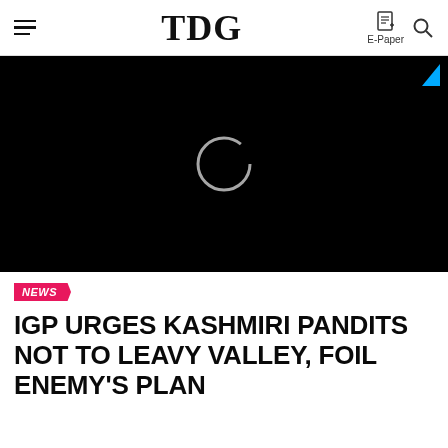TDG | E-Paper
[Figure (screenshot): Black video player area with a circular loading/play indicator in the center and a small blue triangle in the top right corner]
NEWS
IGP URGES KASHMIRI PANDITS NOT TO LEAVY VALLEY, FOIL ENEMY'S PLAN